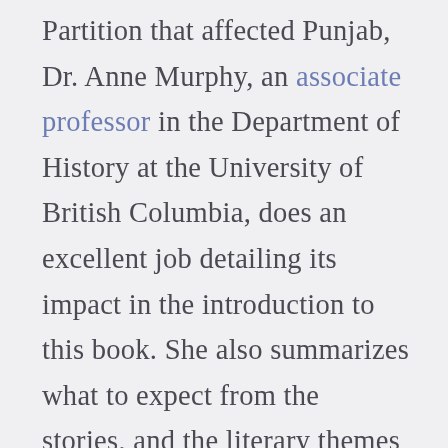Partition that affected Punjab, Dr. Anne Murphy, an associate professor in the Department of History at the University of British Columbia, does an excellent job detailing its impact in the introduction to this book. She also summarizes what to expect from the stories, and the literary themes to look for while reading them.